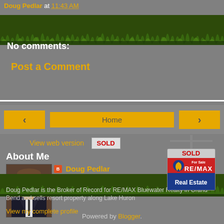Doug Pedlar at 11:43 AM
[Figure (photo): Decorative grass/lawn strip across the top of the page]
No comments:
Post a Comment
Home
View web version
[Figure (logo): SOLD sign with RE/MAX Real Estate For Sale board below it]
About Me
[Figure (photo): Profile photo of Doug Pedlar, a man in a dark suit]
Doug Pedlar
Grand Bend, Ontario, Canada
Doug Pedlar is the Broker of Record for RE/MAX Bluewater Realty in Grand Bend and sells resort property along Lake Huron
View my complete profile
Powered by Blogger.